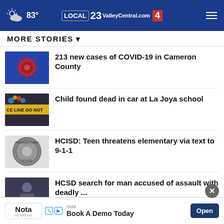83° ValleyCentral.com 23 4
MORE STORIES ▾
213 new cases of COVID-19 in Cameron County
Child found dead in car at La Joya school
HCISD: Teen threatens elementary via text to 9-1-1
HCSD search for man accused of assault with deadly ...
Richard Moore Outdoor Report
Magical Time of Transition
guilty of voter fraud
Nota
Book A Demo Today
Open